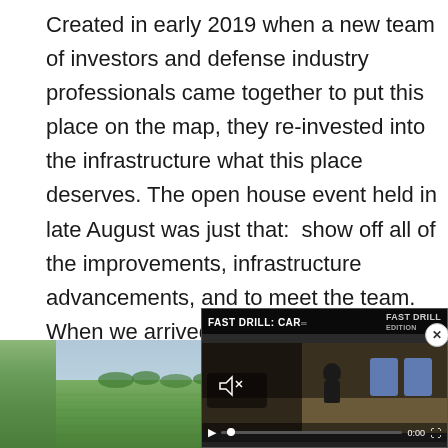Created in early 2019 when a new team of investors and defense industry professionals came together to put this place on the map, they re-invested into the infrastructure what this place deserves. The open house event held in late August was just that:  show off all of the improvements, infrastructure advancements, and to meet the team. When we arrived, we were awaited by an all-black Eurocopter Twinstar AS355 owned and operated by Airborne Tactical Training. We jumped in the co-pilot seat and off we went to tour the facility from the ai
[Figure (photo): Aerial landscape photo showing green agricultural fields stretching to the horizon, partially obscured by a video player overlay in the bottom right]
[Figure (screenshot): Embedded video overlay showing 'FAST DRILL: CAR' title with a scene of a person with targets, muted, at 0:00 with playback controls, and a close (x) button]